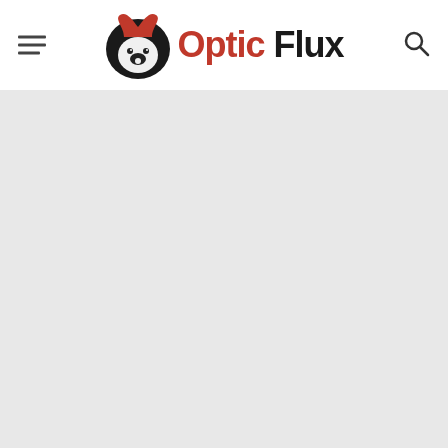Optic Flux
[Figure (other): Large grey content area below the header navigation bar]